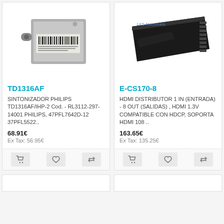[Figure (photo): Photo of a Philips TV tuner module TD1316AF/IHP-2, metallic box with barcode label]
TD1316AF
SINTONIZADOR PHILIPS TD1316AF/IHP-2 Cod. - RL3112-297-14001 PHILIPS, 47PFL7642D-12 37PFL5522..
68.91€
Ex Tax: 56.95€
[Figure (photo): Photo of a black HDMI distributor device E-CS170-8, rectangular black box with multiple ports]
E-CS170-8
HDMI DISTRIBUTOR 1 IN (ENTRADA) - 8 OUT (SALIDAS) , HDMI 1.3V COMPATIBLE CON HDCP, SOPORTA HDMI 108 ..
163.65€
Ex Tax: 135.25€